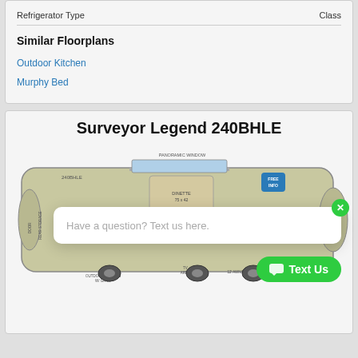Refrigerator Type    Class
Similar Floorplans
Outdoor Kitchen
Murphy Bed
Surveyor Legend 240BHLE
[Figure (illustration): Floorplan diagram of the Surveyor Legend 240BHLE RV showing layout with dinette 75x42, panoramic window, outdoor kitchen w/ grill, rear storage door, ice/cooler storage, 12' awning, TV area, and other interior features. A chat popup overlay shows 'Have a question? Text us here.' with a green X close button and a green 'Text Us' button.]